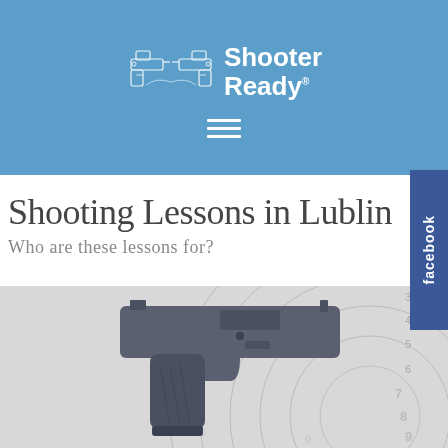[Figure (logo): Shooter Ready logo with two crossed pistols facing outward and white bold text reading 'Shooter Ready.' on a blue background]
[Figure (infographic): Hamburger menu icon (three horizontal white lines) on blue background]
Shooting Lessons in Lublin
Who are these lessons for?
[Figure (photo): A handgun (pistol) resting on a shooting target with concentric rings numbered 3 through 9, light grey and white tones]
[Figure (logo): Facebook sidebar tab on the right side with white text 'facebook' rotated vertically on a dark blue background]